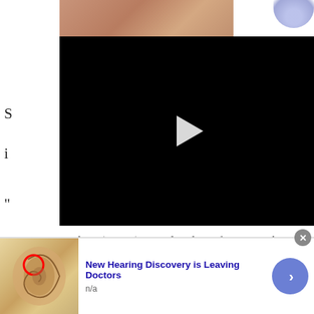[Figure (photo): Skin/body photo at top of page, partially visible]
[Figure (screenshot): Black video player with white play button triangle in center]
S
i
"
g
w
State Rep Meskers (D-150) started with a reference to the United States Declaration of Independence.
“All men are created equal. Those are sacred words
[Figure (infographic): Advertisement banner: hearing aid/ear anatomy illustration with red circle, text 'New Hearing Discovery is Leaving Doctors', 'n/a', with blue arrow button and close X button]